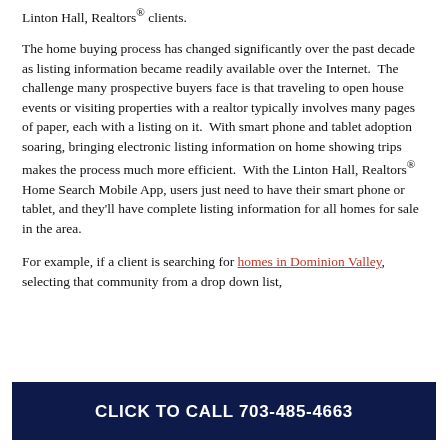Linton Hall, Realtors® clients.
The home buying process has changed significantly over the past decade as listing information became readily available over the Internet.  The challenge many prospective buyers face is that traveling to open house events or visiting properties with a realtor typically involves many pages of paper, each with a listing on it.  With smart phone and tablet adoption soaring, bringing electronic listing information on home showing trips makes the process much more efficient.  With the Linton Hall, Realtors® Home Search Mobile App, users just need to have their smart phone or tablet, and they'll have complete listing information for all homes for sale in the area.
For example, if a client is searching for homes in Dominion Valley, selecting that community from a drop down list,
CLICK TO CALL 703-485-4663